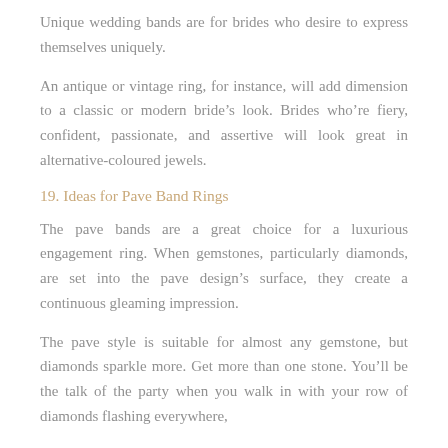Unique wedding bands are for brides who desire to express themselves uniquely.
An antique or vintage ring, for instance, will add dimension to a classic or modern bride’s look. Brides who’re fiery, confident, passionate, and assertive will look great in alternative-coloured jewels.
19. Ideas for Pave Band Rings
The pave bands are a great choice for a luxurious engagement ring. When gemstones, particularly diamonds, are set into the pave design’s surface, they create a continuous gleaming impression.
The pave style is suitable for almost any gemstone, but diamonds sparkle more. Get more than one stone. You’ll be the talk of the party when you walk in with your row of diamonds flashing everywhere,